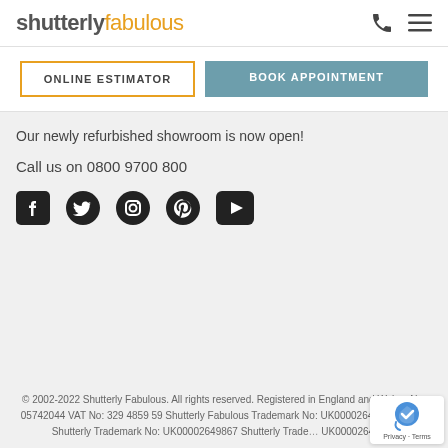[Figure (logo): Shutterly Fabulous logo with phone and menu icons]
ONLINE ESTIMATOR
BOOK APPOINTMENT
Our newly refurbished showroom is now open!
Call us on 08009700 800
[Figure (infographic): Social media icons: Facebook, Twitter, Instagram, Pinterest, YouTube]
© 2002-2022 Shutterly Fabulous. All rights reserved. Registered in England and Wales, No: 05742044 VAT No: 329 4859 59 Shutterly Fabulous Trademark No: UK00002649873 Utterly Shutterly Trademark No: UK00002649867 Shutterly Trade... UK00002649869